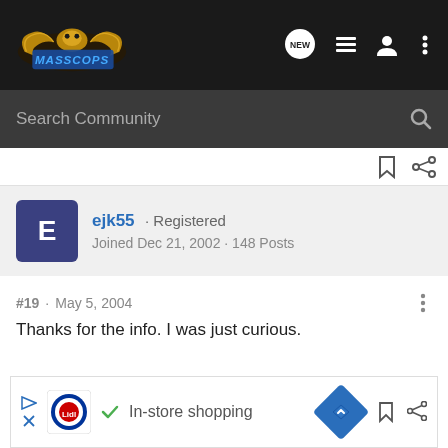[Figure (screenshot): MassCops forum website navigation bar with logo, NEW button, list icon, user icon, and more options icon]
Search Community
ejk55 · Registered
Joined Dec 21, 2002 · 148 Posts
#19 · May 5, 2004
Thanks for the info. I was just curious.
[Figure (screenshot): Advertisement banner: Lidl in-store shopping ad with play/close button, Lidl logo, checkmark, text 'In-store shopping', navigation arrow icon, bookmark and share icons]